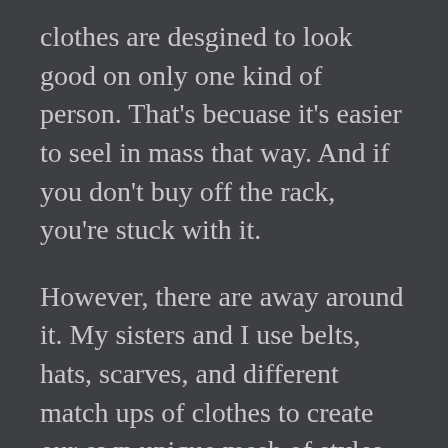clothes are desgined to look good on only one kind of person. That's becuase it's easier to seel in mass that way. And if you don't buy off the rack, you're stuck with it.
However, there are away around it. My sisters and I use belts, hats, scarves, and different match ups of clothes to create our own unique mesh of styles that accenuate our good points.